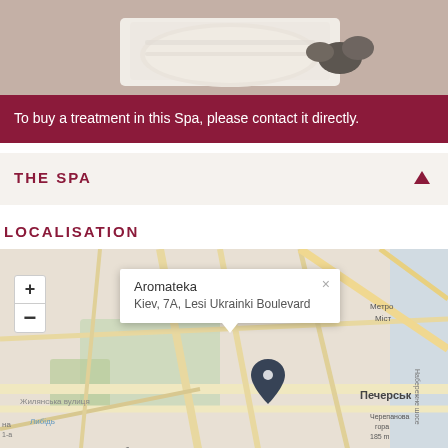[Figure (photo): Spa photo showing rolled white towels and dark stones on a light background]
To buy a treatment in this Spa, please contact it directly.
THE SPA
LOCALISATION
[Figure (map): Interactive map showing location of Aromateka at Kiev, 7A, Lesi Ukrainki Boulevard with a popup marker and Cyrillic street names including Печерськ district]